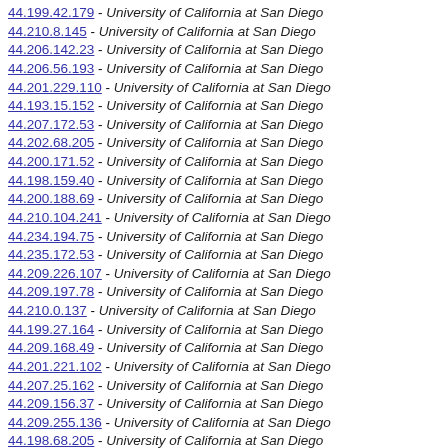44.199.42.179 - University of California at San Diego
44.210.8.145 - University of California at San Diego
44.206.142.23 - University of California at San Diego
44.206.56.193 - University of California at San Diego
44.201.229.110 - University of California at San Diego
44.193.15.152 - University of California at San Diego
44.207.172.53 - University of California at San Diego
44.202.68.205 - University of California at San Diego
44.200.171.52 - University of California at San Diego
44.198.159.40 - University of California at San Diego
44.200.188.69 - University of California at San Diego
44.210.104.241 - University of California at San Diego
44.234.194.75 - University of California at San Diego
44.235.172.53 - University of California at San Diego
44.209.226.107 - University of California at San Diego
44.209.197.78 - University of California at San Diego
44.210.0.137 - University of California at San Diego
44.199.27.164 - University of California at San Diego
44.209.168.49 - University of California at San Diego
44.201.221.102 - University of California at San Diego
44.207.25.162 - University of California at San Diego
44.209.156.37 - University of California at San Diego
44.209.255.136 - University of California at San Diego
44.198.68.205 - University of California at San Diego
44.205.200.81 - University of California at San Diego
44.200.173.54 - University of California at San Diego
44.209.95.232 - University of California at San Diego
44.207.29.166 - University of California at San Diego
44.206.87.224 - University of California at San Diego
44.225.209.90 - University of California at San Diego